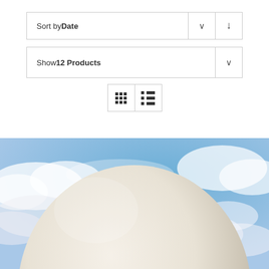Sort by Date
Show 12 Products
[Figure (screenshot): View toggle buttons: grid view and list view icons]
[Figure (photo): Large white balloon or sphere against a blue sky with clouds]